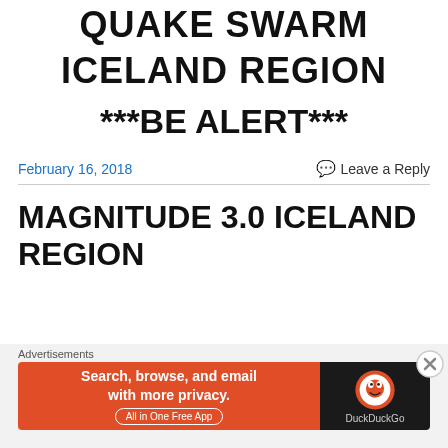QUAKE SWARM
ICELAND REGION
***BE ALERT***
February 16, 2018
Leave a Reply
MAGNITUDE 3.0 ICELAND REGION
[Figure (other): DuckDuckGo advertisement banner: Search, browse, and email with more privacy. All in One Free App.]